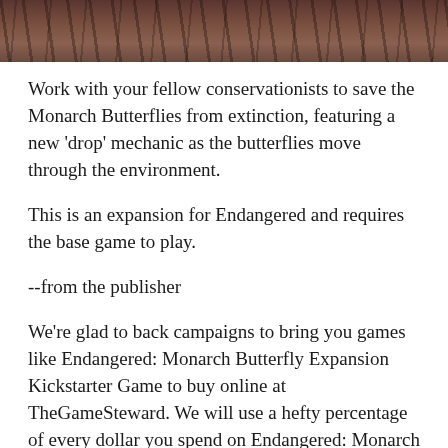[Figure (photo): Partial view of a nature/wildlife scene with dark reeds or branches against a muted background, appearing to be the top portion of a game box art image.]
Work with your fellow conservationists to save the Monarch Butterflies from extinction, featuring a new 'drop' mechanic as the butterflies move through the environment.
This is an expansion for Endangered and requires the base game to play.
--from the publisher
We're glad to back campaigns to bring you games like Endangered: Monarch Butterfly Expansion Kickstarter Game to buy online at TheGameSteward. We will use a hefty percentage of every dollar you spend on Endangered: Monarch Butterfly Expansion towards backing fantastic new games on Kickstarter! Just a